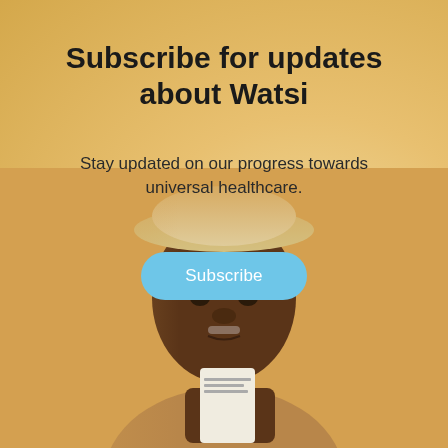Subscribe for updates about Watsi
Stay updated on our progress towards universal healthcare.
[Figure (photo): Elderly African man wearing a tan woven hat and jacket, holding a small white card/box and looking at the camera, photographed against a warm tan/amber background]
Subscribe